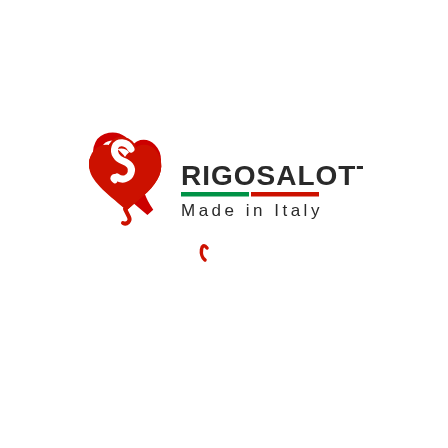[Figure (logo): Rigosalotti brand logo featuring a red heart-shaped RS monogram on the left, bold dark text RIGOSALOTTI with green and red horizontal stripes beneath it (Italian flag colors), and 'Made in Italy' text below. A small red curved arc appears below the main logo.]